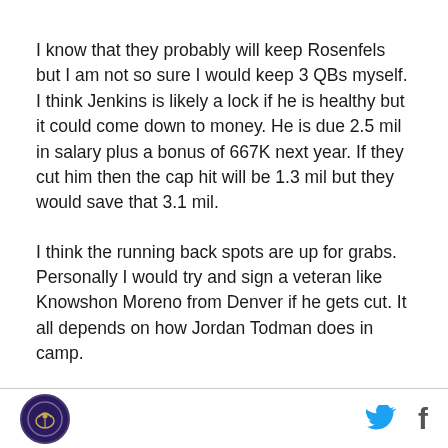I know that they probably will keep Rosenfels but I am not so sure I would keep 3 QBs myself. I think Jenkins is likely a lock if he is healthy but it could come down to money. He is due 2.5 mil in salary plus a bonus of 667K next year. If they cut him then the cap hit will be 1.3 mil but they would save that 3.1 mil.
I think the running back spots are up for grabs. Personally I would try and sign a veteran like Knowshon Moreno from Denver if he gets cut. It all depends on how Jordan Todman does in camp.
The wide receivers spots are wide open too. I know
[logo] [twitter] [facebook]